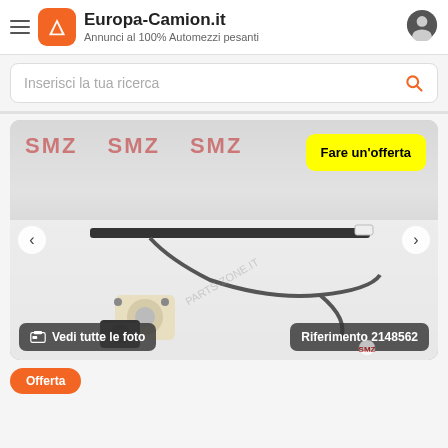Europa-Camion.it — Annunci al 100% Automezzi pesanti
Inserisci la tua ricerca
[Figure (photo): Product photo of a truck window regulator mechanism (electric motor and cable assembly) placed on a white surface in front of an SMZ-branded backdrop. A yellow 'Fare un'offerta' button overlay is top-right. Bottom overlays read 'Vedi tutte le foto' (left) and 'Riferimento 2148562' (right). Navigation arrows are on left and right sides.]